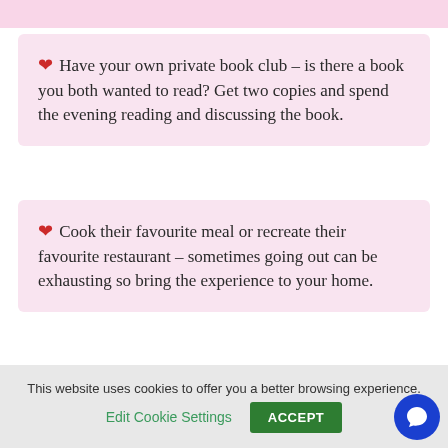❤ Have your own private book club – is there a book you both wanted to read? Get two copies and spend the evening reading and discussing the book.
❤ Cook their favourite meal or recreate their favourite restaurant – sometimes going out can be exhausting so bring the experience to your home.
Are there any ideas that you think we should add to our list? Let us know in the comments ⬇
This website uses cookies to offer you a better browsing experience. Edit Cookie Settings ACCEPT